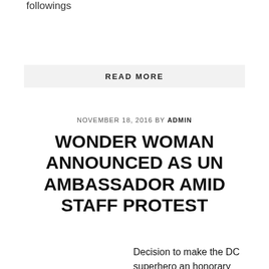followings
READ MORE
NOVEMBER 18, 2016 BY ADMIN
WONDER WOMAN ANNOUNCED AS UN AMBASSADOR AMID STAFF PROTEST
Decision to make the DC superhero an honorary ambassador for the empowerment of women led to a petition and silent protest by employees This is the most fun the UN has had, Im pretty sure right? Diane Nelson, president of DC Entertainment said at a ceremony appointing Wonder